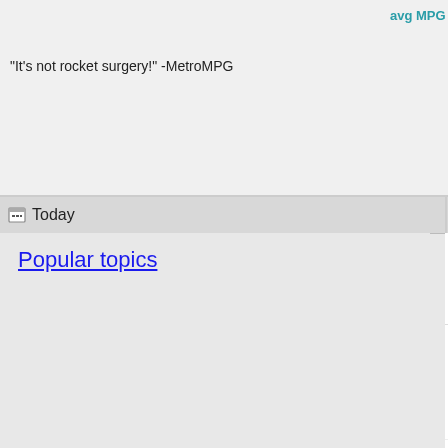avg MPG
"It's not rocket surgery!" -MetroMPG
Today
Popular topics
Other popular topics in this forum...
The Phil Knox fleet - 3 years of aeromodding
Aero mods - 1930's st - rebodied Ford Mode
5th generation Civic hatchback - improving aerodynamics
Daihatsu Mira aerodynamic modifications